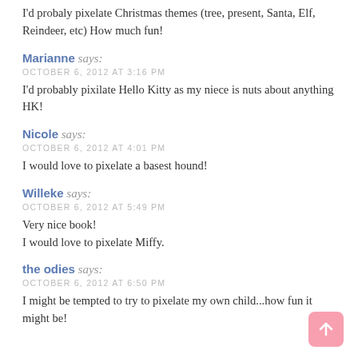I'd probaly pixelate Christmas themes (tree, present, Santa, Elf, Reindeer, etc) How much fun!
Marianne says:
OCTOBER 6, 2012 AT 3:16 PM
I'd probably pixilate Hello Kitty as my niece is nuts about anything HK!
Nicole says:
OCTOBER 6, 2012 AT 4:01 PM
I would love to pixelate a basest hound!
Willeke says:
OCTOBER 6, 2012 AT 5:49 PM
Very nice book!
I would love to pixelate Miffy.
the odies says:
OCTOBER 6, 2012 AT 6:50 PM
I might be tempted to try to pixelate my own child...how fun it might be!